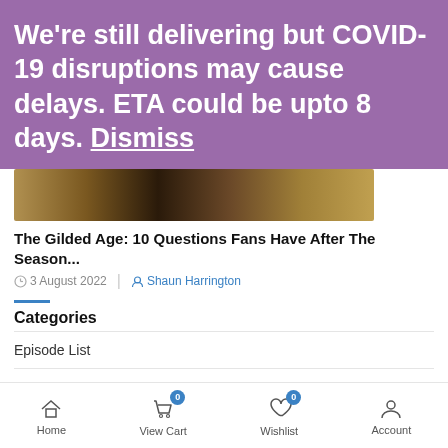We're still delivering but COVID-19 disruptions may cause delays. ETA could be upto 8 days. Dismiss
[Figure (photo): Partial image of The Gilded Age article showing period-costumed figures]
The Gilded Age: 10 Questions Fans Have After The Season...
3 August 2022 | Shaun Harrington
Categories
Episode List
NEWS & STORIES
Home  View Cart 0  Wishlist 0  Account